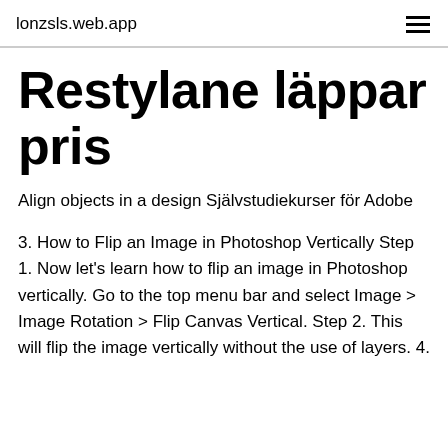lonzsls.web.app
Restylane läppar pris
Align objects in a design Självstudiekurser för Adobe
3. How to Flip an Image in Photoshop Vertically Step 1. Now let's learn how to flip an image in Photoshop vertically. Go to the top menu bar and select Image > Image Rotation > Flip Canvas Vertical. Step 2. This will flip the image vertically without the use of layers. 4.